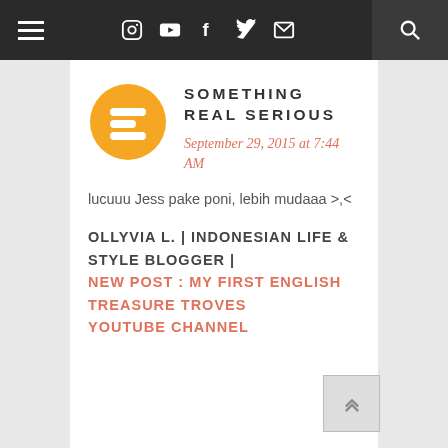Navigation bar with menu, social icons (Instagram, YouTube, Facebook, Twitter, Email), and search
[Figure (logo): Blogger orange circle logo with white B letter]
SOMETHING REAL SERIOUS
September 29, 2015 at 7:44 AM
lucuuu Jess pake poni, lebih mudaaa >,<
OLLYVIA L. | INDONESIAN LIFE & STYLE BLOGGER | NEW POST : MY FIRST ENGLISH TREASURE TROVES YOUTUBE CHANNEL